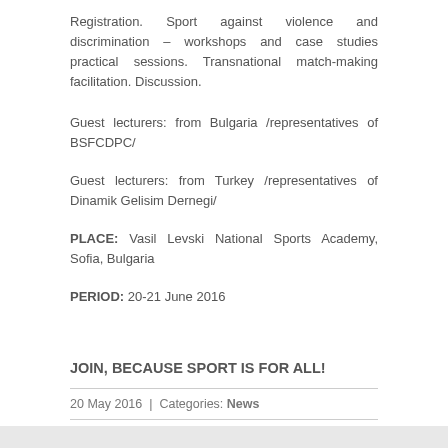Registration. Sport against violence and discrimination – workshops and case studies practical sessions. Transnational match-making facilitation. Discussion.
Guest lecturers: from Bulgaria /representatives of BSFCDPC/
Guest lecturers: from Turkey /representatives of Dinamik Gelisim Dernegi/
PLACE: Vasil Levski National Sports Academy, Sofia, Bulgaria
PERIOD: 20-21 June 2016
JOIN, BECAUSE SPORT IS FOR ALL!
20 May 2016 | Categories: News